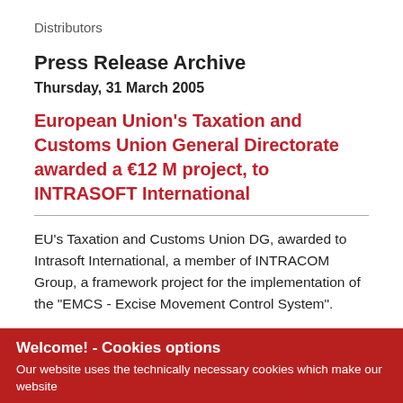Distributors
Press Release Archive
Thursday, 31 March 2005
European Union's Taxation and Customs Union General Directorate awarded a €12 M project, to INTRASOFT International
EU's Taxation and Customs Union DG, awarded to Intrasoft International, a member of INTRACOM Group, a framework project for the implementation of the "EMCS - Excise Movement Control System".
The EMCS project, budgeted at €12 M, concerns the handling throughout the EU of manufactured tobacco,
Welcome! - Cookies options
Our website uses the technically necessary cookies which make our website